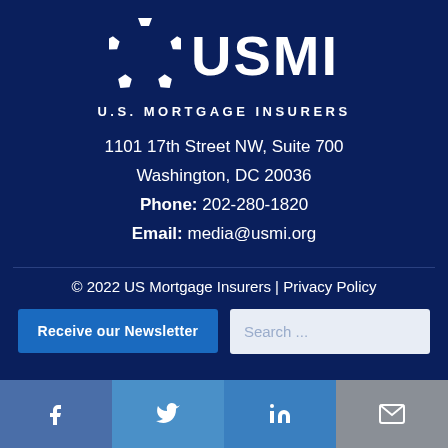[Figure (logo): USMI U.S. Mortgage Insurers logo with pentagon flower icon and large USMI text]
U.S. MORTGAGE INSURERS
1101 17th Street NW, Suite 700
Washington, DC 20036
Phone: 202-280-1820
Email: media@usmi.org
© 2022 US Mortgage Insurers | Privacy Policy
Receive our Newsletter
Search ...
[Figure (infographic): Social media icon bar at bottom: Facebook, Twitter, LinkedIn, Email icons on colored backgrounds]